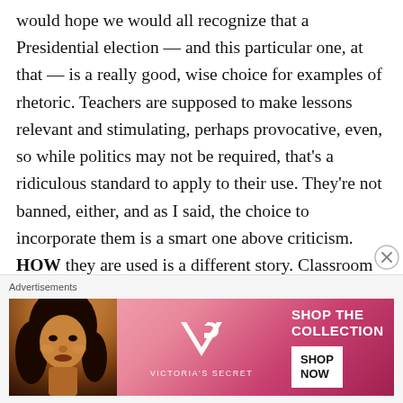would hope we would all recognize that a Presidential election — and this particular one, at that — is a really good, wise choice for examples of rhetoric. Teachers are supposed to make lessons relevant and stimulating, perhaps provocative, even, so while politics may not be required, that's a ridiculous standard to apply to their use. They're not banned, either, and as I said, the choice to incorporate them is a smart one above criticism. HOW they are used is a different story. Classroom environments should be protective and allow students to explore ideas safely, but that does not imply an environment
Advertisements
[Figure (photo): Victoria's Secret advertisement banner showing a woman model on the left, VS logo in the center, and 'SHOP THE COLLECTION' text with a 'SHOP NOW' button on the right, pink/red gradient background.]